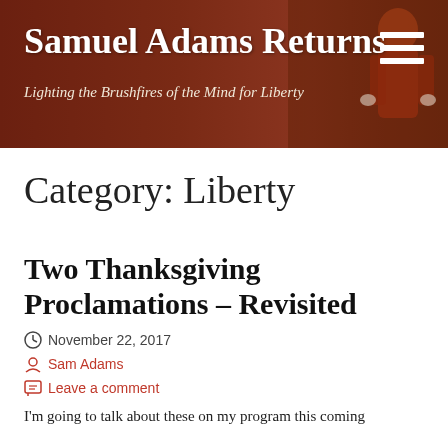Samuel Adams Returns — Lighting the Brushfires of the Mind for Liberty
Category: Liberty
Two Thanksgiving Proclamations – Revisited
November 22, 2017
Sam Adams
Leave a comment
I'm going to talk about these on my program this coming